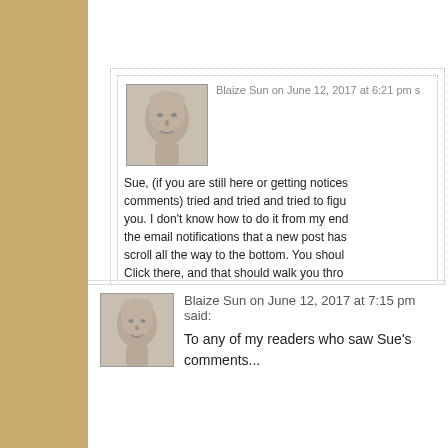Blaize Sun on June 12, 2017 at 6:21 pm s
Sue, (if you are still here or getting notices of comments) tried and tried and tried to figure out how to unsubscribe you. I don't know how to do it from my end. When you get the email notifications that a new post has been published, scroll all the way to the bottom. You should see a link. Click there, and that should walk you through how to unsubscribe.

Clicking on that link should work for anyone who wants to be a subscriber to the Rubber Tramp Artis
Blaize Sun on June 12, 2017 at 7:15 pm said:
To any of my readers who saw Sue's comments...